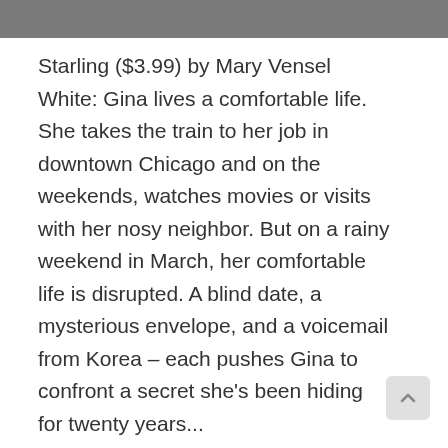Starling ($3.99) by Mary Vensel White: Gina lives a comfortable life. She takes the train to her job in downtown Chicago and on the weekends, watches movies or visits with her nosy neighbor. But on a rainy weekend in March, her comfortable life is disrupted. A blind date, a mysterious envelope, and a voicemail from Korea – each pushes Gina to confront a secret she's been hiding for twenty years...